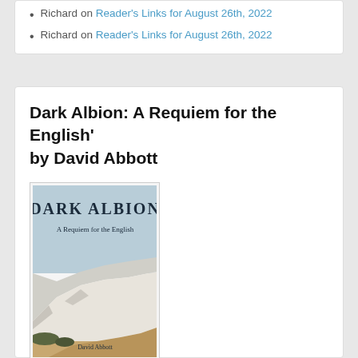Richard on Reader's Links for August 26th, 2022
Richard on Reader's Links for August 26th, 2022
Dark Albion: A Requiem for the English' by David Abbott
[Figure (photo): Book cover of 'Dark Albion: A Requiem for the English' by David Abbott, showing white chalk cliffs with a sandy foreground and blue sky. The title 'DARK ALBION' is displayed in large serif font at the top, with subtitle 'A Requiem for the English' below it, and the author's name 'David Abbott' at the bottom.]